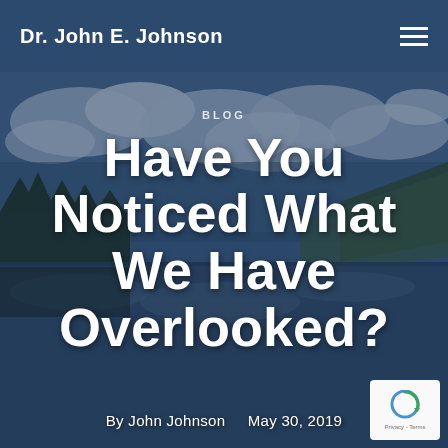Dr. John E. Johnson
BLOG
Have You Noticed What We Have Overlooked?
By John Johnson    May 30, 2019
[Figure (photo): Scenic mountain lake with cloudy sky reflected in calm water, trees on left, hills on right, dark moody tones with blue overlay]